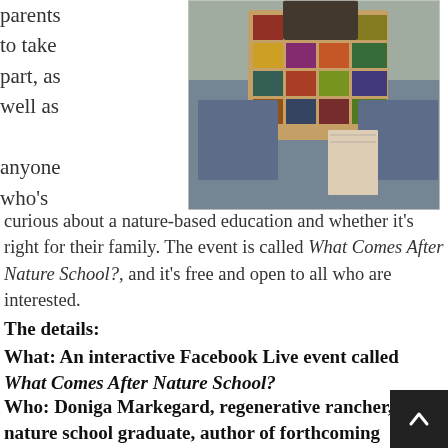parents to take part, as well as anyone who's
[Figure (photo): Close-up photo of a person wearing a colorful patchwork/plaid jacket and denim, holding what appears to be a notebook or book.]
curious about a nature-based education and whether it's right for their family. The event is called What Comes After Nature School?, and it's free and open to all who are interested.
The details:
What: An interactive Facebook Live event called What Comes After Nature School?
Who: Doniga Markegard, regenerative rancher, nature school graduate, author of forthcoming memoir Dawn Again: Tracking the Wisdom of the Wild
When: Wednesday, November 1 at 4pm-5pm